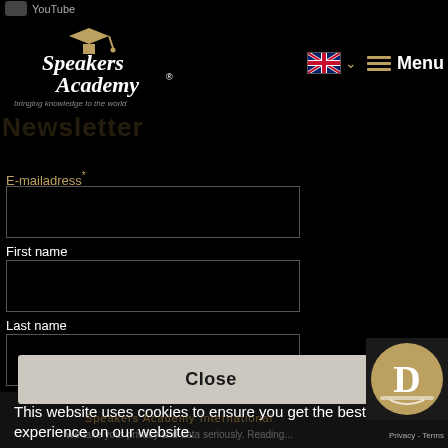[Figure (logo): Speakers Academy logo with graduation cap icon and tagline 'bringing knowledge to the world']
Newsletter
[Figure (screenshot): UK flag icon for language selection with dropdown chevron and hamburger menu icon with 'Menu' text]
E-mailadress *
First name
Last name
This website uses cookies to ensure you get the best experience on our website.
Read more
Close
Speakers Academy International
We take your privacy and data seriously. Reading...